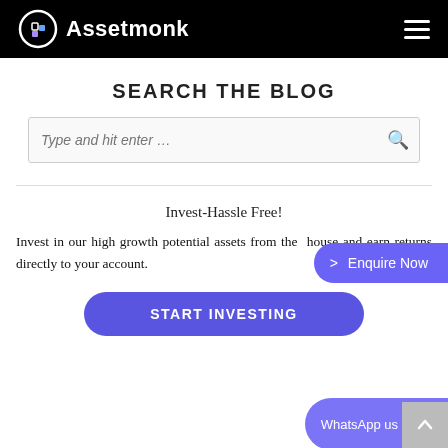Assetmonk
SEARCH THE BLOG
Type and hit enter …
Invest-Hassle Free!
Invest in our high growth potential assets from the house and earn returns directly to your account.
START INVESTING
> Enquire Now
WhatsApp us